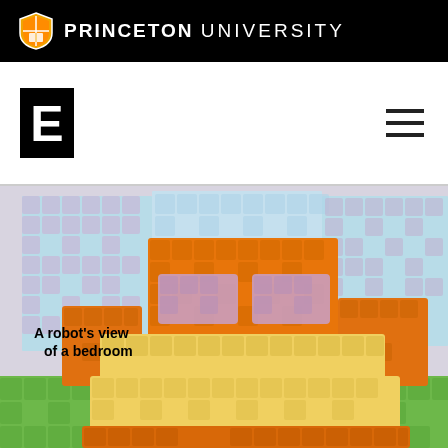PRINCETON UNIVERSITY
[Figure (logo): Bold E letter logo / icon on left, hamburger menu icon on right]
[Figure (illustration): Voxel/block-style 3D rendering of a bedroom scene showing a bed, headboard, nightstands, and walls rendered as colorful cubes (orange, yellow, green, purple, light blue). Text overlay reads 'A robot's view of a bedroom'.]